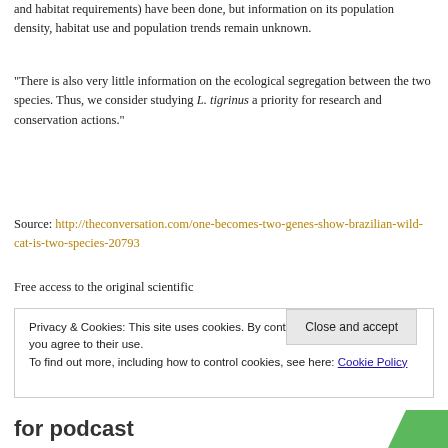and habitat requirements) have been done, but information on its population density, habitat use and population trends remain unknown.
“There is also very little information on the ecological segregation between the two species. Thus, we consider studying L. tigrinus a priority for research and conservation actions.”
Source: http://theconversation.com/one-becomes-two-genes-show-brazilian-wild-cat-is-two-species-20793
Free access to the original scientific
Privacy & Cookies: This site uses cookies. By continuing to use this website, you agree to their use.
To find out more, including how to control cookies, see here: Cookie Policy
Close and accept
for podcast